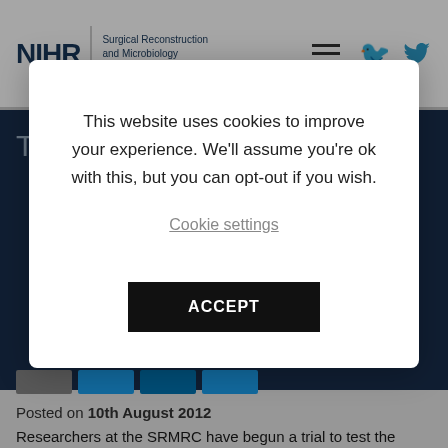NIHR Surgical Reconstruction and Microbiology Research Centre
Trial begins of rapid use of
This website uses cookies to improve your experience. We'll assume you're ok with this, but you can opt-out if you wish.
Cookie settings
ACCEPT
Posted on 10th August 2012
Researchers at the SRMRC have begun a trial to test the practicality of the rapid administering of a drug called